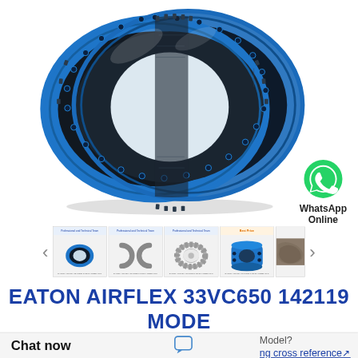[Figure (photo): Large blue and black Eaton Airflex 33VC650 142119 industrial coupling/clutch ring component, circular toroidal shape with blue metal flanges and black rubber/mesh middle section, shown from a slight angle]
[Figure (photo): WhatsApp green phone icon bubble with 'WhatsApp Online' label below]
[Figure (photo): Thumbnail strip with 5 product images: blue coupling ring (main product), C-shaped coupling halves in grey, circular toothed coupling ring, blue pipe coupling with bolts labeled 'Best Price', and a stone/rock textured component]
EATON AIRFLEX 33VC650 142119 MODELS
Chat now
Model?
ng cross reference